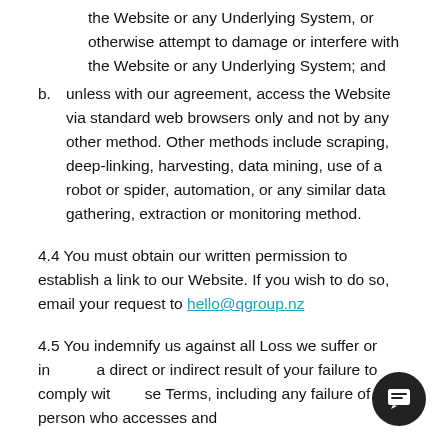the Website or any Underlying System, or otherwise attempt to damage or interfere with the Website or any Underlying System; and
b. unless with our agreement, access the Website via standard web browsers only and not by any other method. Other methods include scraping, deep-linking, harvesting, data mining, use of a robot or spider, automation, or any similar data gathering, extraction or monitoring method.
4.4 You must obtain our written permission to establish a link to our Website. If you wish to do so, email your request to hello@qgroup.nz
4.5 You indemnify us against all Loss we suffer or incur as a direct or indirect result of your failure to comply with these Terms, including any failure of a person who accesses and